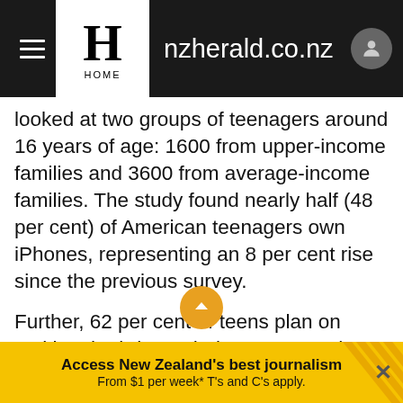nzherald.co.nz
looked at two groups of teenagers around 16 years of age: 1600 from upper-income families and 3600 from average-income families. The study found nearly half (48 per cent) of American teenagers own iPhones, representing an 8 per cent rise since the previous survey.
Further, 62 per cent of teens plan on making the iPhone their next smartphone purchase.
The survey also found that 51 per cent of teens owned a tablet, up from 44 per cent in fall 2012. The iPad share of that is 68 per cent, down from 72 per cent in
Access New Zealand's best journalism From $1 per week* T's and C's apply.